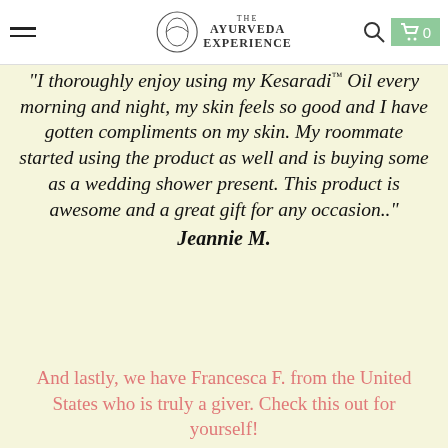The Ayurveda Experience
"I thoroughly enjoy using my Kesaradi™ Oil every morning and night, my skin feels so good and I have gotten compliments on my skin. My roommate started using the product as well and is buying some as a wedding shower present. This product is awesome and a great gift for any occasion.."
Jeannie M.
And lastly, we have Francesca F. from the United States who is truly a giver. Check this out for yourself!